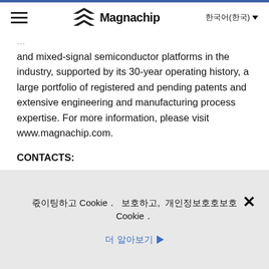≡  Magnachip  한국어(한국)
and mixed-signal semiconductor platforms in the industry, supported by its 30-year operating history, a large portfolio of registered and pending patents and extensive engineering and manufacturing process expertise. For more information, please visit www.magnachip.com.
CONTACTS:
In the United States:
Robert Pursel
쿠키를 사용 Cookie.  자세한 내용은,  개인정보보호정책을 읽어보세요 Cookie. ×
더 알아보기 ▶